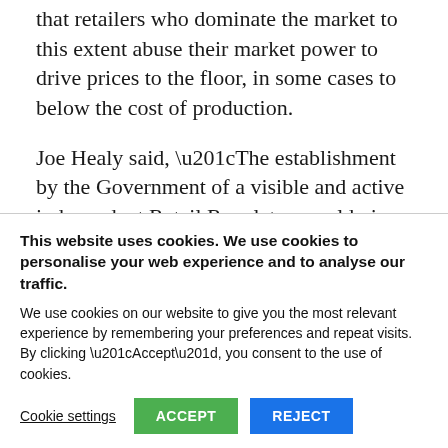that retailers who dominate the market to this extent abuse their market power to drive prices to the floor, in some cases to below the cost of production.
Joe Healy said, “The establishment by the Government of a visible and active independent Retail Regulator would give
This website uses cookies. We use cookies to personalise your web experience and to analyse our traffic. We use cookies on our website to give you the most relevant experience by remembering your preferences and repeat visits. By clicking “Accept”, you consent to the use of cookies.
Cookie settings | ACCEPT | REJECT